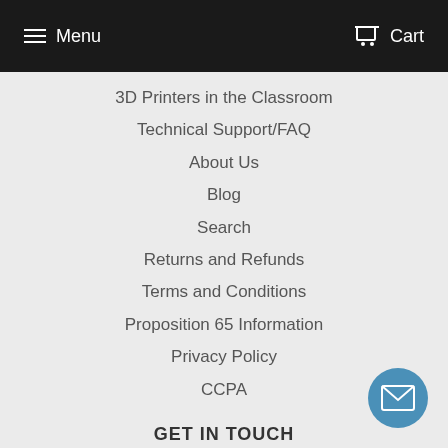Menu  Cart
3D Printers in the Classroom
Technical Support/FAQ
About Us
Blog
Search
Returns and Refunds
Terms and Conditions
Proposition 65 Information
Privacy Policy
CCPA
GET IN TOUCH
1 888-874-7441
info@profound3d.com
[Figure (illustration): Blue circular email/envelope icon button in bottom right corner]